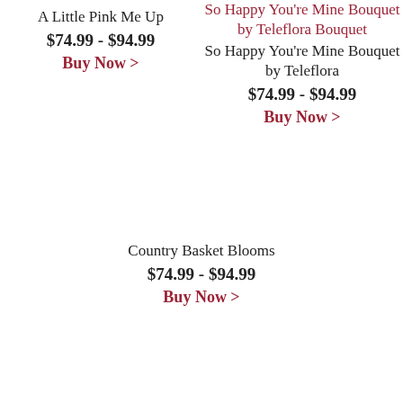A Little Pink Me Up
$74.99 - $94.99
Buy Now >
So Happy You're Mine Bouquet by Teleflora Bouquet So Happy You're Mine Bouquet by Teleflora
$74.99 - $94.99
Buy Now >
Country Basket Blooms
$74.99 - $94.99
Buy Now >